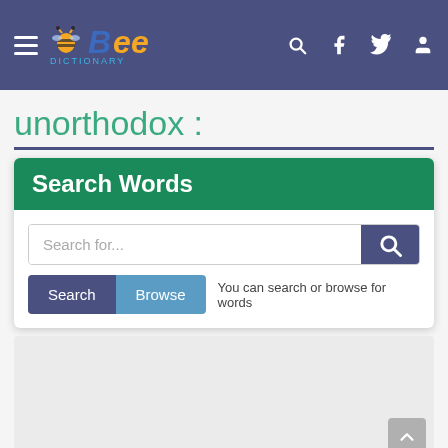Bee Dictionary — navigation bar with hamburger menu, logo, search, facebook, twitter, and user icons
unorthodox :
Search Words
Search for...
You can search or browse for words